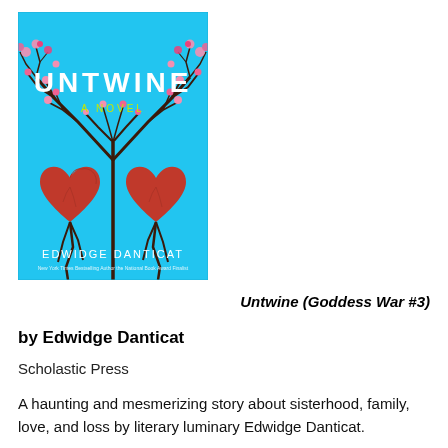[Figure (illustration): Book cover of 'Untwine: A Novel' by Edwidge Danticat. Cyan/turquoise blue background with a bare dark branching tree whose roots form two intertwined red anatomical hearts at the base. Pink blossoms on upper branches. Title 'UNTWINE' in large white letters, 'A NOVEL' in yellow-green beneath, author name 'EDWIDGE DANTICAT' in white at the bottom with a subtitle line.]
Untwine (Goddess War #3)
by Edwidge Danticat
Scholastic Press
A haunting and mesmerizing story about sisterhood, family, love, and loss by literary luminary Edwidge Danticat.